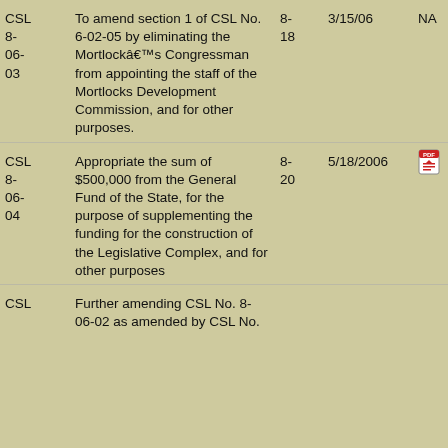| Law No. | Description | Bill No. | Date | PDF |  |
| --- | --- | --- | --- | --- | --- |
| CSL 8-06-03 | To amend section 1 of CSL No. 6-02-05 by eliminating the Mortlock’s Congressman from appointing the staff of the Mortlocks Development Commission, and for other purposes. | 8-18 | 3/15/06 | NA | N |
| CSL 8-06-04 | Appropriate the sum of $500,000 from the General Fund of the State, for the purpose of supplementing the funding for the construction of the Legislative Complex, and for other purposes | 8-20 | 5/18/2006 | [PDF] | N |
| CSL | Further amending CSL No. 8-06-02 as amended by CSL No. |  |  |  |  |